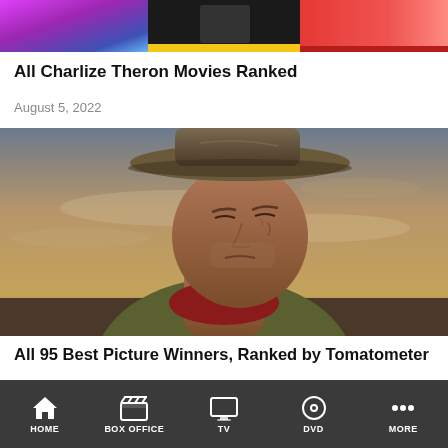[Figure (photo): Top strip with three panels: purple/blue gradient left, dark middle with yellow stripe, red gradient right]
All Charlize Theron Movies Ranked
August 5, 2022
[Figure (photo): Close-up portrait of an elderly weathered man (Clint Eastwood style) wearing a wide-brim cowboy hat against a dramatic cloudy sky background]
All 95 Best Picture Winners, Ranked by Tomatometer
August 5, 2022
HOME | BOX OFFICE | TV | DVD | MORE